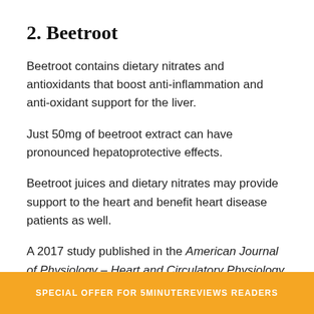2. Beetroot
Beetroot contains dietary nitrates and antioxidants that boost anti-inflammation and anti-oxidant support for the liver.
Just 50mg of beetroot extract can have pronounced hepatoprotective effects.
Beetroot juices and dietary nitrates may provide support to the heart and benefit heart disease patients as well.
A 2017 study published in the American Journal of Physiology – Heart and Circulatory Physiology found that dietary nitrates consumed via beetroot juice decreased blood pressure by dilating the blood vessels.
SPECIAL OFFER FOR 5MINUTEREVIEWS READERS